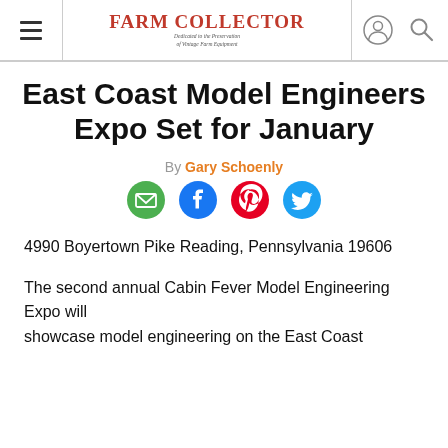Farm Collector — Dedicated to the Preservation of Vintage Farm Equipment
East Coast Model Engineers Expo Set for January
By Gary Schoenly
[Figure (other): Social sharing icons: email, Facebook, Pinterest, Twitter]
4990 Boyertown Pike Reading, Pennsylvania 19606
The second annual Cabin Fever Model Engineering Expo will showcase model engineering on the East Coast